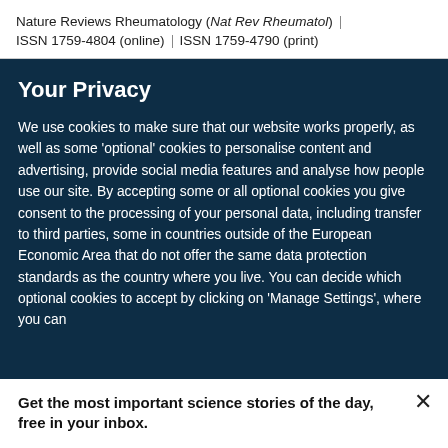Nature Reviews Rheumatology (Nat Rev Rheumatol) ISSN 1759-4804 (online) | ISSN 1759-4790 (print)
Your Privacy
We use cookies to make sure that our website works properly, as well as some ‘optional’ cookies to personalise content and advertising, provide social media features and analyse how people use our site. By accepting some or all optional cookies you give consent to the processing of your personal data, including transfer to third parties, some in countries outside of the European Economic Area that do not offer the same data protection standards as the country where you live. You can decide which optional cookies to accept by clicking on ‘Manage Settings’, where you can
Get the most important science stories of the day, free in your inbox.
Sign up for Nature Briefing